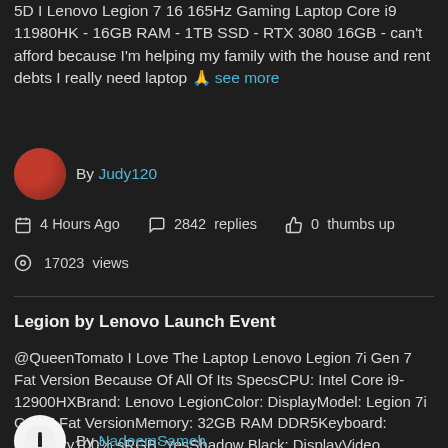5D I Lenovo Legion 7 16 165Hz Gaming Laptop Core i9 11980HK - 16GB RAM - 1TB SSD - RTX 3080 16GB - can't afford because I'm helping my family with the house and rent debts I really need laptop 🙏 see more
By Judy120
4 Hours Ago   2842 replies   0 thumbs up
17023 views
Legion by Lenovo Launch Event
@QueenTomato I Love The Laptop Lenovo Legion 7i Gen 7 Fat Version Because Of All Of Its SpecsCPU: Intel Core i9-12900HXBrand: Lenovo LegionColor: DisplayModel: Legion 7i Gen 7 Fat VersionMemory: 32GB RAM DDR5Keyboard: Warranty100% sRGB: YesShadow Black: DisplayVideo Memory: 16GB GDDR6Graphics... see more
By NadeemSameh